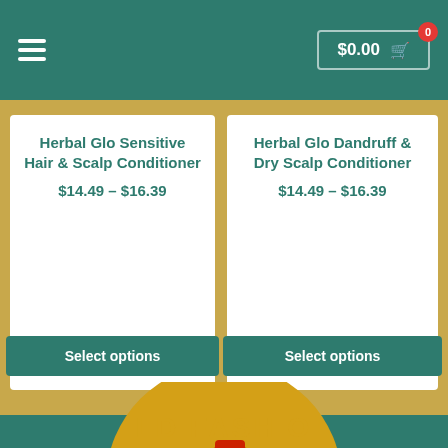$0.00  0
Herbal Glo Sensitive Hair & Scalp Conditioner
$14.49 – $16.39
Select options
Herbal Glo Dandruff & Dry Scalp Conditioner
$14.49 – $16.39
Select options
[Figure (logo): Partial circular green logo with text 'LD FASHIO' visible and an illustrated figure wearing a red hat]